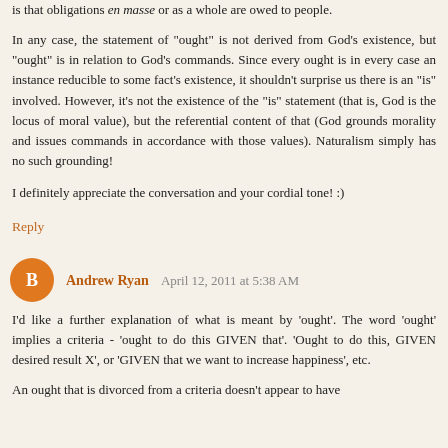is that obligations en masse or as a whole are owed to people.
In any case, the statement of "ought" is not derived from God's existence, but "ought" is in relation to God's commands. Since every ought is in every case an instance reducible to some fact's existence, it shouldn't surprise us there is an "is" involved. However, it's not the existence of the "is" statement (that is, God is the locus of moral value), but the referential content of that (God grounds morality and issues commands in accordance with those values). Naturalism simply has no such grounding!
I definitely appreciate the conversation and your cordial tone! :)
Reply
Andrew Ryan  April 12, 2011 at 5:38 AM
I'd like a further explanation of what is meant by 'ought'. The word 'ought' implies a criteria - 'ought to do this GIVEN that'. 'Ought to do this, GIVEN desired result X', or 'GIVEN that we want to increase happiness', etc.
An ought that is divorced from a criteria doesn't appear to have